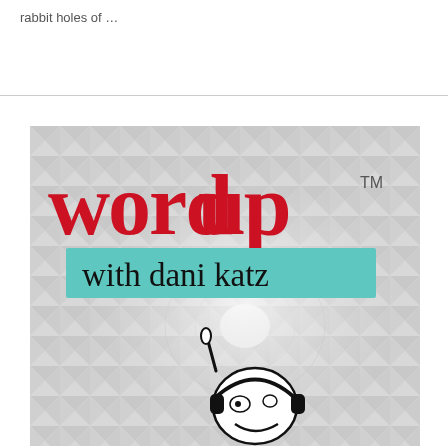rabbit holes of …
[Figure (logo): Word Up with Dani Katz podcast logo. Red hand-drawn lettering 'word up' with TM symbol, teal brush stroke banner reading 'with dani katz', geometric triangle pattern background in grey and white, cartoon character with headphones at bottom.]